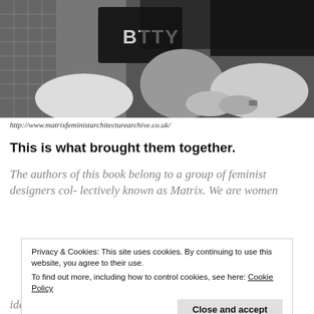[Figure (photo): Black and white photograph of people sitting together, one wearing a shirt with letters 'BTTY']
http://www.matrixfeministarchitecturearchive.co.uk/
This is what brought them together.
The authors of this book belong to a group of feminist designers col- lectively known as Matrix. We are women
Privacy & Cookies: This site uses cookies. By continuing to use this website, you agree to their use.
To find out more, including how to control cookies, see here: Cookie Policy
ideas about buildings with other women; and we have